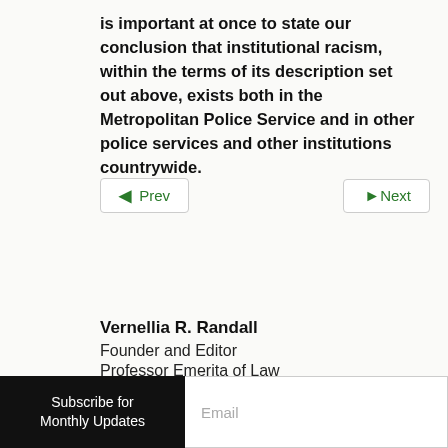is important at once to state our conclusion that institutional racism, within the terms of its description set out above, exists both in the Metropolitan Police Service and in other police services and other institutions countrywide.
◄ Prev   ►Next
Vernellia R. Randall
Founder and Editor
Professor Emerita of Law
Subscribe for Monthly Updates   Email